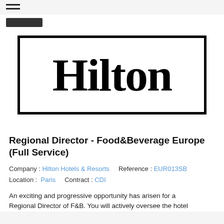[Figure (logo): Hilton Hotels logo: black serif text 'Hilton' inside a thick black rectangular border on white background]
Regional Director - Food&Beverage Europe (Full Service)
Company : Hilton Hotels & Resorts   Reference : EUR013SB
Location :  Paris    Contract : CDI
An exciting and progressive opportunity has arisen for a Regional Director of F&B. You will actively oversee the hotel...